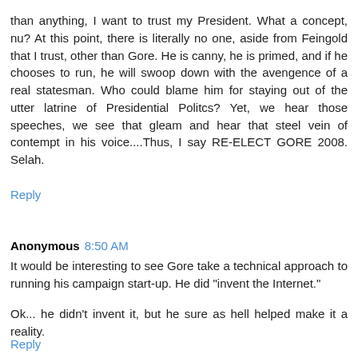than anything, I want to trust my President. What a concept, nu? At this point, there is literally no one, aside from Feingold that I trust, other than Gore. He is canny, he is primed, and if he chooses to run, he will swoop down with the avengence of a real statesman. Who could blame him for staying out of the utter latrine of Presidential Politcs? Yet, we hear those speeches, we see that gleam and hear that steel vein of contempt in his voice....Thus, I say RE-ELECT GORE 2008. Selah.
Reply
Anonymous 8:50 AM
It would be interesting to see Gore take a technical approach to running his campaign start-up. He did "invent the Internet."
Ok... he didn't invent it, but he sure as hell helped make it a reality.
Reply